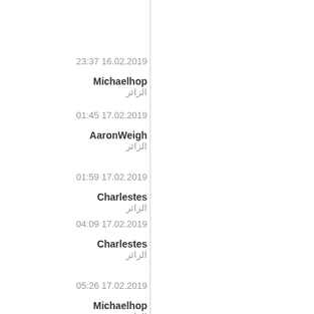23:37 16.02.2019
Michaelhop
الزائر
01:45 17.02.2019
AaronWeigh
الزائر
01:59 17.02.2019
Charlestes
الزائر
04:09 17.02.2019
Charlestes
الزائر
05:26 17.02.2019
Michaelhop
الزائر